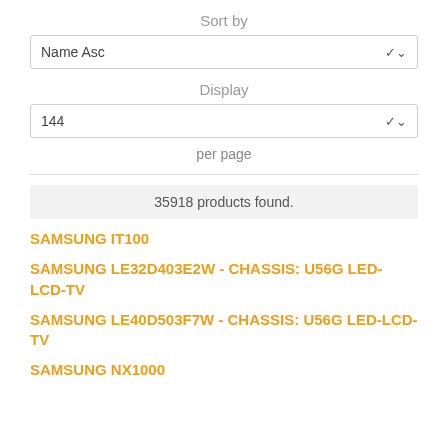Sort by
Name Asc
Display
144
per page
35918 products found.
SAMSUNG IT100
SAMSUNG LE32D403E2W - CHASSIS: U56G LED-LCD-TV
SAMSUNG LE40D503F7W - CHASSIS: U56G LED-LCD-TV
SAMSUNG NX1000